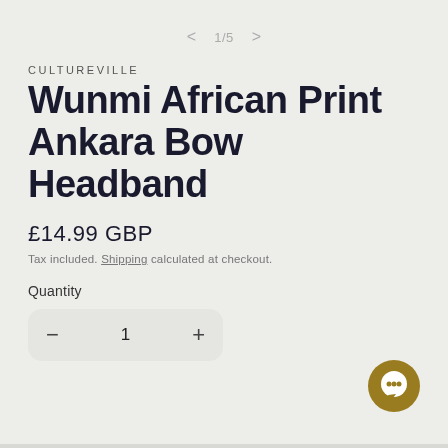< 1/5 >
CULTUREVILLE
Wunmi African Print Ankara Bow Headband
£14.99 GBP
Tax included. Shipping calculated at checkout.
Quantity
− 1 +
[Figure (illustration): Gold/olive colored chat bubble icon in bottom right corner]